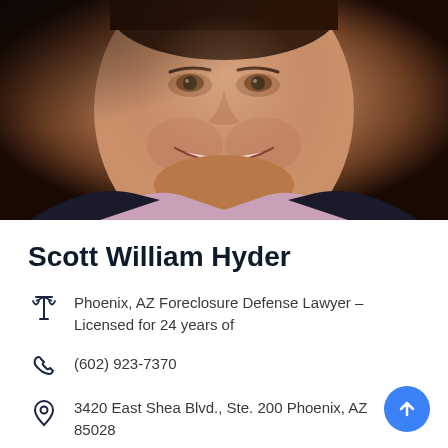[Figure (photo): Headshot of Scott William Hyder, a smiling middle-aged man with a closely-cropped hairline, wearing a pink/lavender shirt and dark blazer, photographed close-up against a dark background.]
Scott William Hyder
Phoenix, AZ Foreclosure Defense Lawyer - Licensed for 24 years of
(602) 923-7370
3420 East Shea Blvd., Ste. 200 Phoenix, AZ 85028